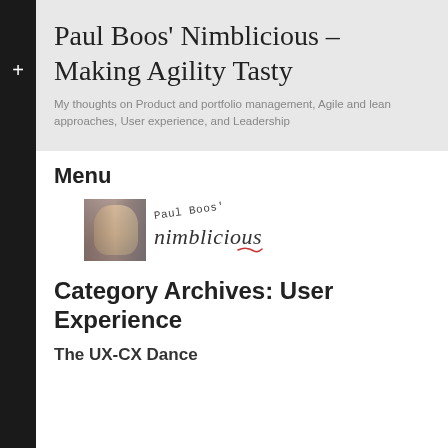Paul Boos' Nimblicious – Making Agility Tasty
My thoughts on Product and portfolio management, Agile and lean approaches, User experience, and Leadership
Menu
[Figure (logo): Nimblicious blog logo: a photo of a man smiling alongside a handwritten signature and the word 'nimblicious' in italic serif font with a decorative underline]
Category Archives: User Experience
The UX-CX Dance